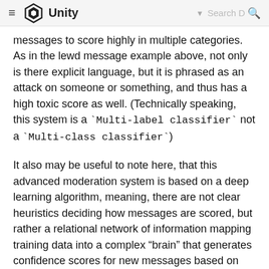Unity — Search D
messages to score highly in multiple categories. As in the lewd message example above, not only is there explicit language, but it is phrased as an attack on someone or something, and thus has a high toxic score as well. (Technically speaking, this system is a `Multi-label classifier` not a `Multi-class classifier`)
It also may be useful to note here, that this advanced moderation system is based on a deep learning algorithm, meaning, there are not clear heuristics deciding how messages are scored, but rather a relational network of information mapping training data into a complex “brain” that generates confidence scores for new messages based on the messages it has been trained on.
A complex amalgamation of a lot of data points.